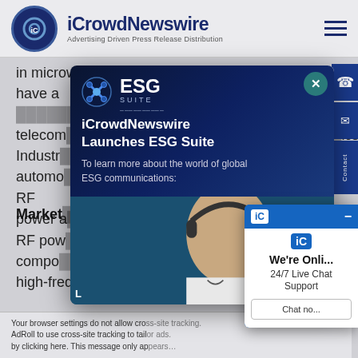[Figure (logo): iCrowdNewswire logo with circular icon and text. Subtitle: Advertising Driven Press Release Distribution]
in microwave testing. These RF power amplifiers have a telecommunications, Industry, automotive use, an RF power a
Market
RF power components high frequency signals
[Figure (screenshot): ESG Suite popup modal overlay with iCrowdNewswire branding. Title: 'iCrowdNewswire Launches ESG Suite'. Text: 'To learn more about the world of global ESG communications:'. Shows a businesswoman with futuristic tech background and a woman with headset in bottom portion. Close button (X) in teal circle top right.]
[Figure (screenshot): Live chat widget. Header shows 'iC' badge. Text: 'We're Onli...' '24/7 Live Chat Support'. Button: 'Chat no...']
Your browser settings do not allow cross-site tracking. AdRoll to use cross-site tracking to tailor ads. by clicking here. This message only ap